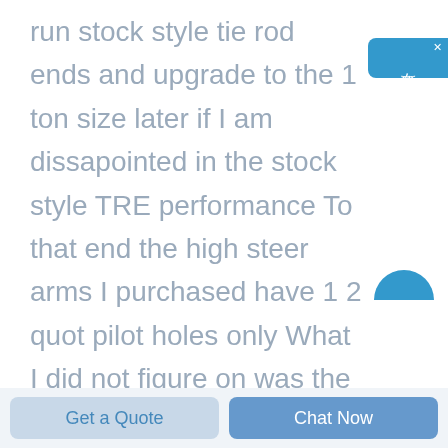run stock style tie rod ends and upgrade to the 1 ton size later if I am dissapointed in the stock style TRE performance To that end the high steer arms I purchased have 1 2 quot pilot holes only What I did not figure on was the general lack of information about the stock style TRE taper or maybe it is my poor google skills Everywhere I look I can
[Figure (other): Chinese live chat widget button on right side, blue background with white Chinese characters 在线咨询 (online consultation) and a small X close button]
Get a Quote
Chat Now